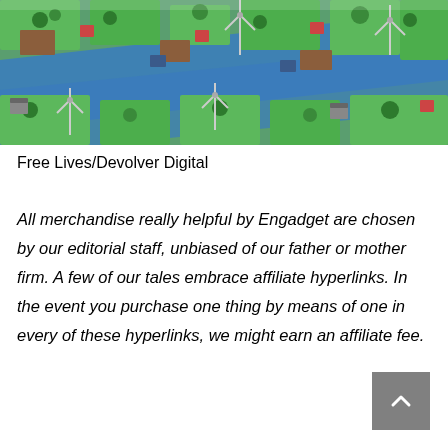[Figure (screenshot): Isometric pixel-art video game screenshot showing a colorful landscape with green tiles, water, trees, wind turbines, and small buildings/structures arranged in a grid-based world.]
Free Lives/Devolver Digital
All merchandise really helpful by Engadget are chosen by our editorial staff, unbiased of our father or mother firm. A few of our tales embrace affiliate hyperlinks. In the event you purchase one thing by means of one in every of these hyperlinks, we might earn an affiliate fee.